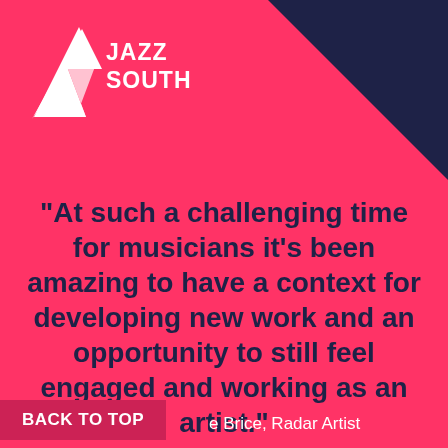[Figure (logo): Jazz South logo with white arrow/chevron icon and bold white text reading JAZZ SOUTH on a pink/red background with dark navy triangle in top-right corner]
"At such a challenging time for musicians it's been amazing to have a context for developing new work and an opportunity to still feel engaged and working as an artist."
BACK TO TOP
e Brice, Radar Artist